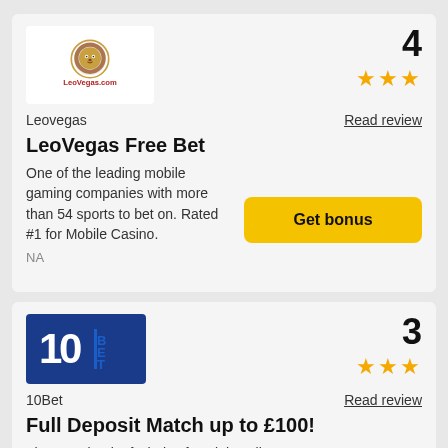[Figure (logo): LeoVegas.com logo - lion icon with red and gold text]
4
★★★
Leovegas
Read review
LeoVegas Free Bet
One of the leading mobile gaming companies with more than 54 sports to bet on. Rated #1 for Mobile Casino.
NA
Get bonus
[Figure (logo): 10Bet logo - white 10BET text on dark blue background]
3
★★★
10Bet
Read review
Full Deposit Match up to £100!
The Sportbook of Choice for High Rollers - VIP treatment for the top depositors and a